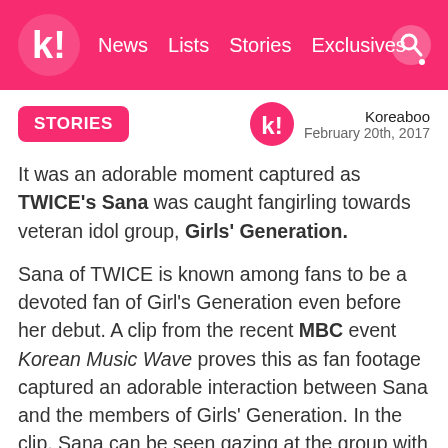Koreaboo — News | Lists | Stories | Exclusives
STORIES
Koreaboo
February 20th, 2017
It was an adorable moment captured as TWICE's Sana was caught fangirling towards veteran idol group, Girls' Generation.
Sana of TWICE is known among fans to be a devoted fan of Girl's Generation even before her debut. A clip from the recent MBC event Korean Music Wave proves this as fan footage captured an adorable interaction between Sana and the members of Girls' Generation. In the clip, Sana can be seen gazing at the group with wonder during the